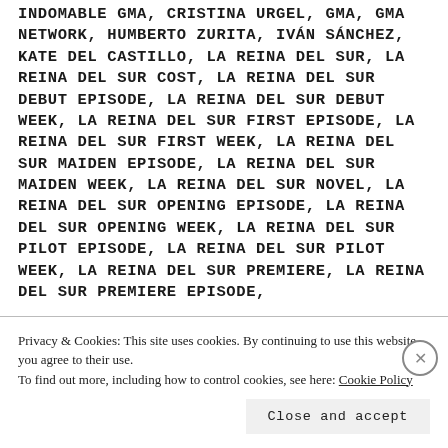INDOMABLE GMA, CRISTINA URGEL, GMA, GMA NETWORK, HUMBERTO ZURITA, IVÁN SÁNCHEZ, KATE DEL CASTILLO, LA REINA DEL SUR, LA REINA DEL SUR COST, LA REINA DEL SUR DEBUT EPISODE, LA REINA DEL SUR DEBUT WEEK, LA REINA DEL SUR FIRST EPISODE, LA REINA DEL SUR FIRST WEEK, LA REINA DEL SUR MAIDEN EPISODE, LA REINA DEL SUR MAIDEN WEEK, LA REINA DEL SUR NOVEL, LA REINA DEL SUR OPENING EPISODE, LA REINA DEL SUR OPENING WEEK, LA REINA DEL SUR PILOT EPISODE, LA REINA DEL SUR PILOT WEEK, LA REINA DEL SUR PREMIERE, LA REINA DEL SUR PREMIERE EPISODE,
Privacy & Cookies: This site uses cookies. By continuing to use this website, you agree to their use. To find out more, including how to control cookies, see here: Cookie Policy
Close and accept